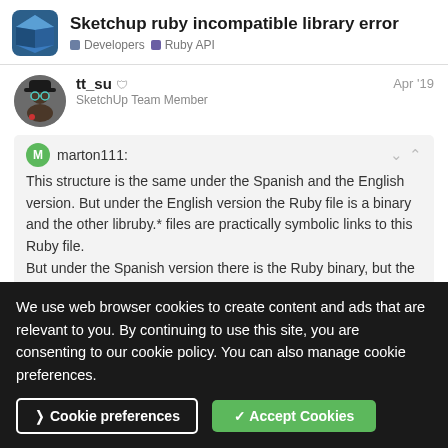Sketchup ruby incompatible library error | Developers | Ruby API
tt_su ☆ | SketchUp Team Member | Apr '19
marton111:
This structure is the same under the Spanish and the English version. But under the English version the Ruby file is a binary and the other libruby.* files are practically symbolic links to this Ruby file. But under the Spanish version there is the Ruby binary, but the libruby.* files are binaries too (not links). And these
We use web browser cookies to create content and ads that are relevant to you. By continuing to use this site, you are consenting to our cookie policy. You can also manage cookie preferences.
Cookie preferences | ✓ Accept Cookies